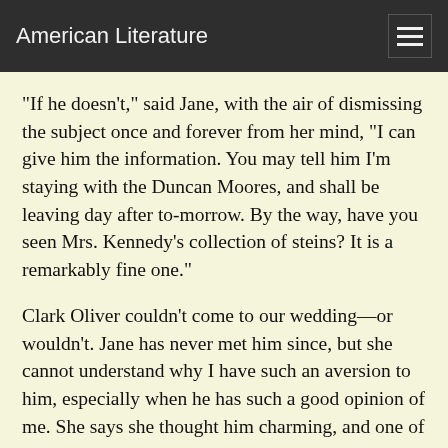American Literature
"If he doesn't," said Jane, with the air of dismissing the subject once and forever from her mind, "I can give him the information. You may tell him I'm staying with the Duncan Moores, and shall be leaving day after to-morrow. By the way, have you seen Mrs. Kennedy's collection of steins? It is a remarkably fine one."
Clark Oliver couldn't come to our wedding—or wouldn't. Jane has never met him since, but she cannot understand why I have such an aversion to him, especially when he has such a good opinion of me. She says she thought him charming, and one of